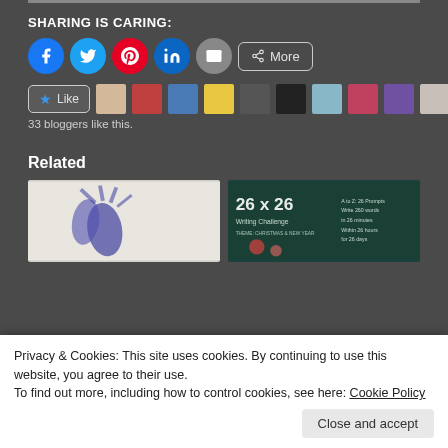SHARING IS CARING:
[Figure (infographic): Social sharing buttons: Facebook (blue circle), Twitter (cyan circle), Pinterest (red circle), LinkedIn (blue circle), Email (gray circle), and a More button with share icon]
[Figure (infographic): Like button with star icon, followed by 10 blogger avatar thumbnails]
33 bloggers like this.
Related
[Figure (photo): Photo showing blue paint handprints on white paper]
[Figure (photo): 26 x 26 Writing Challenge promotional image with Christmas & New Year theme]
Privacy & Cookies: This site uses cookies. By continuing to use this website, you agree to their use.
To find out more, including how to control cookies, see here: Cookie Policy
Close and accept